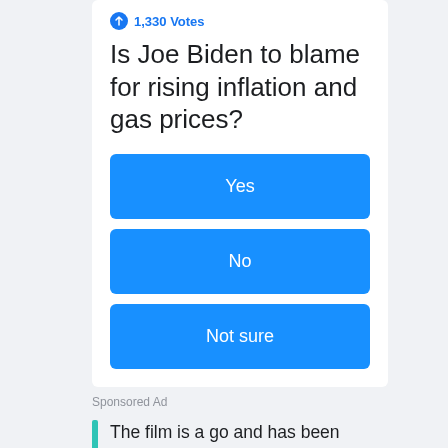1,330 Votes
Is Joe Biden to blame for rising inflation and gas prices?
Yes
No
Not sure
Sponsored Ad
The film is a go and has been approved by the Warner Bros. team, we have talked